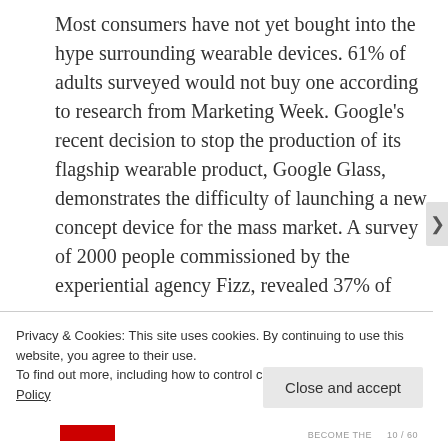Most consumers have not yet bought into the hype surrounding wearable devices. 61% of adults surveyed would not buy one according to research from Marketing Week. Google's recent decision to stop the production of its flagship wearable product, Google Glass, demonstrates the difficulty of launching a new concept device for the mass market. A survey of 2000 people commissioned by the experiential agency Fizz, revealed 37% of
Privacy & Cookies: This site uses cookies. By continuing to use this website, you agree to their use.
To find out more, including how to control cookies, see here: Cookie Policy
Close and accept